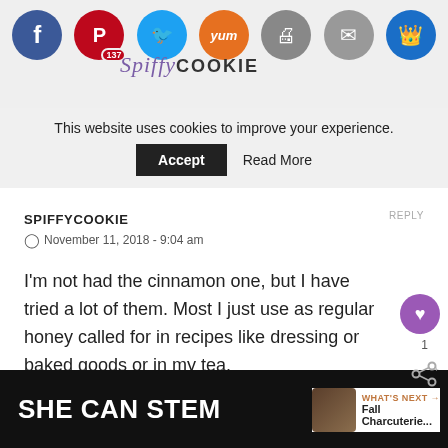SpiffyCookie website header with social sharing icons: Facebook, Pinterest (137), Twitter, Yummly, Print, Email, Crown. Cookie consent banner: This website uses cookies to improve your experience. [Accept] [Read More]
SPIFFYCOOKIE
November 11, 2018 - 9:04 am
I'm not had the cinnamon one, but I have tried a lot of them. Most I just use as regular honey called for in recipes like dressing or baked goods or in my tea.
SHE CAN STEM